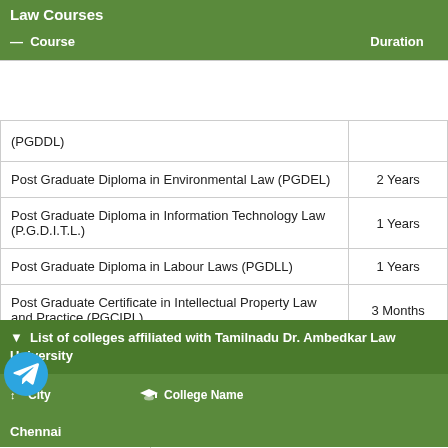Law Courses
| Course | Duration |
| --- | --- |
| (PGDDL) |  |
| Post Graduate Diploma in Environmental Law (PGDEL) | 2 Years |
| Post Graduate Diploma in Information Technology Law (P.G.D.I.T.L.) | 1 Years |
| Post Graduate Diploma in Labour Laws (PGDLL) | 1 Years |
| Post Graduate Certificate in Intellectual Property Law and Practice (PGCIPL) | 3 Months |
▼  List of colleges affiliated with Tamilnadu Dr. Ambedkar Law University
| City | College Name |
| --- | --- |
| Chennai |  |
| 1 | Dr. Ambedkar Government Law College |
| Coimbatore |  |
| 1 | Government Law College Coimbatore |